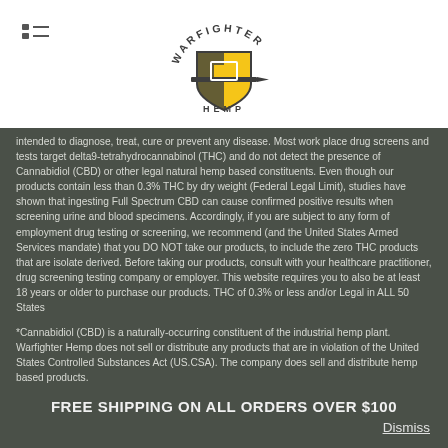[Figure (logo): Warfighter Hemp logo — shield with sword and 'HEMP' text below, in dark olive/yellow colors]
intended to diagnose, treat, cure or prevent any disease. Most work place drug screens and tests target delta9-tetrahydrocannabinol (THC) and do not detect the presence of Cannabidiol (CBD) or other legal natural hemp based constituents. Even though our products contain less than 0.3% THC by dry weight (Federal Legal Limit), studies have shown that ingesting Full Spectrum CBD can cause confirmed positive results when screening urine and blood specimens. Accordingly, if you are subject to any form of employment drug testing or screening, we recommend (and the United States Armed Services mandate) that you DO NOT take our products, to include the zero THC products that are isolate derived. Before taking our products, consult with your healthcare practitioner, drug screening testing company or employer. This website requires you to also be at least 18 years or older to purchase our products. THC of 0.3% or less and/or Legal in ALL 50 States
*Cannabidiol (CBD) is a naturally-occurring constituent of the industrial hemp plant. Warfighter Hemp does not sell or distribute any products that are in violation of the United States Controlled Substances Act (US.CSA). The company does sell and distribute hemp based products.
FREE SHIPPING ON ALL ORDERS OVER $100
Dismiss